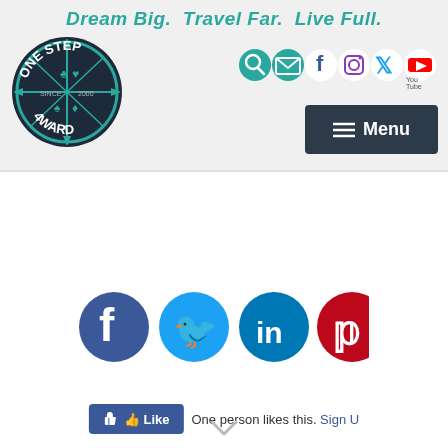Dream Big.  Travel Far.  Live Full.
[Figure (logo): One Step 4Ward circular compass logo with teal and dark navy colors]
[Figure (infographic): Header social media icons: search, email, Facebook, Instagram, Twitter, YouTube]
[Figure (infographic): Dark navy Menu button with hamburger icon]
[Figure (infographic): Social share icons: Facebook (dark blue), Twitter (light blue), LinkedIn (teal), Pinterest (red)]
One person likes this. Sign U